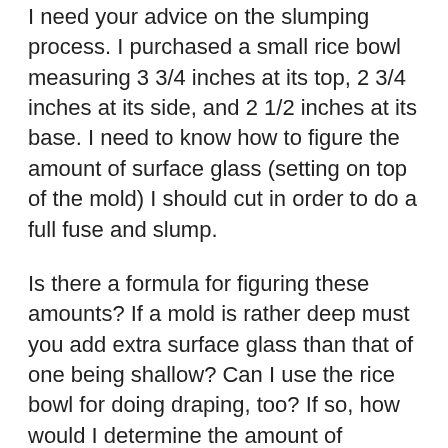I need your advice on the slumping process. I purchased a small rice bowl measuring 3 3/4 inches at its top, 2 3/4 inches at its side, and 2 1/2 inches at its base. I need to know how to figure the amount of surface glass (setting on top of the mold) I should cut in order to do a full fuse and slump.
Is there a formula for figuring these amounts? If a mold is rather deep must you add extra surface glass than that of one being shallow? Can I use the rice bowl for doing draping, too? If so, how would I determine the amount of surface glass needed? Will there be a tendency for unevenness at the base? If “yes”, is there a way I can possibly stop this from happening (I am wondering whether I can use fiber board, dams or a blanket.)?
Can you recommend a few good products that I can use